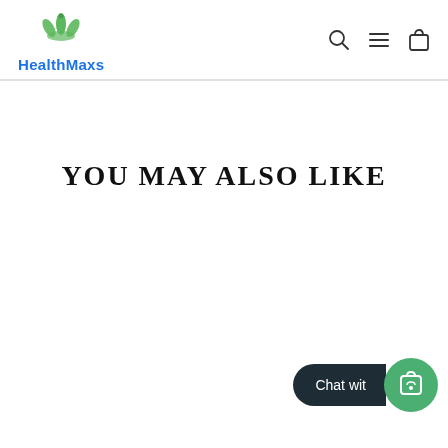[Figure (logo): HealthMaxs logo with green leaf icon and blue text]
[Figure (infographic): Navigation icons: search (magnifying glass), menu (hamburger lines), cart (shopping bag)]
YOU MAY ALSO LIKE
[Figure (infographic): Chat widget button with dark rounded pill shape saying 'Chat wit' and green circle with shopping bag icon]